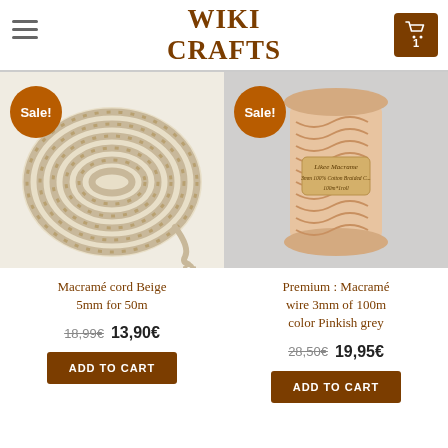WIKI CRAFTS
[Figure (photo): Macramé cord coil in beige/natural color with a Sale! badge]
[Figure (photo): Spool of pinkish-grey macramé wire with Likee Macrame label and a Sale! badge]
Macramé cord Beige 5mm for 50m
18,99€  13,90€
ADD TO CART
Premium : Macramé wire 3mm of 100m color Pinkish grey
28,50€  19,95€
ADD TO CART